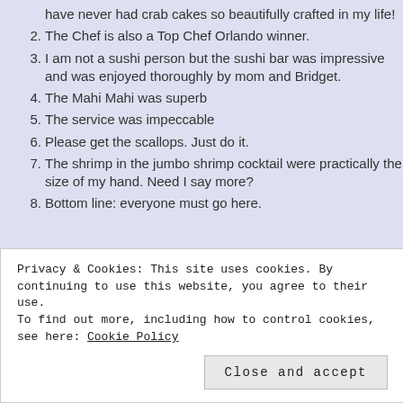have never had crab cakes so beautifully crafted in my life!
2. The Chef is also a Top Chef Orlando winner.
3. I am not a sushi person but the sushi bar was impressive and was enjoyed thoroughly by mom and Bridget.
4. The Mahi Mahi was superb
5. The service was impeccable
6. Please get the scallops. Just do it.
7. The shrimp in the jumbo shrimp cocktail were practically the size of my hand. Need I say more?
8.  Bottom line: everyone must go here.
[Figure (photo): Dark background photo showing a seafood dish with pink/magenta garnish or seafood item on a white plate]
Privacy & Cookies: This site uses cookies. By continuing to use this website, you agree to their use.
To find out more, including how to control cookies, see here: Cookie Policy
Close and accept